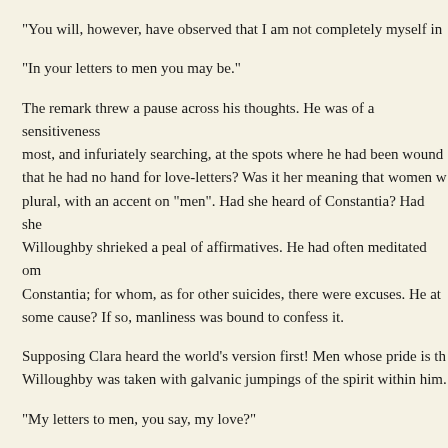"You will, however, have observed that I am not completely myself in
"In your letters to men you may be."
The remark threw a pause across his thoughts. He was of a sensitiveness most, and infuriately searching, at the spots where he had been wound that he had no hand for love-letters? Was it her meaning that women w plural, with an accent on "men". Had she heard of Constantia? Had she Willoughby shrieked a peal of affirmatives. He had often meditated om Constantia; for whom, as for other suicides, there were excuses. He at some cause? If so, manliness was bound to confess it.
Supposing Clara heard the world's version first! Men whose pride is th Willoughby was taken with galvanic jumpings of the spirit within him.
"My letters to men, you say, my love?"
"Your letters of business."
"Completely myself in my letters of business?" He stared indeed.
She relaxed the tension of his figure by remarking: "You are able to ex more difficult."
"True, my love. I will not exactly say difficult. I can acknowledge no c
"For dumb-show and pantomime?"